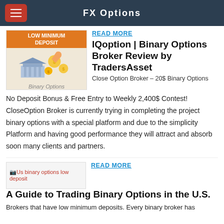FX Options
[Figure (illustration): Binary options illustration with coins, bank building, and 'LOW MINIMUM DEPOSIT' orange badge]
READ MORE
IQoption | Binary Options Broker Review by TradersAsset
Close Option Broker – 20$ Binary Options No Deposit Bonus & Free Entry to Weekly 2,400$ Contest! CloseOption Broker is currently trying in completing the project binary options with a special platform and due to the simplicity Platform and having good performance they will attract and absorb soon many clients and partners.
[Figure (photo): Broken image placeholder: Us binary options low deposit]
READ MORE
A Guide to Trading Binary Options in the U.S.
Brokers that have low minimum deposits. Every binary broker has